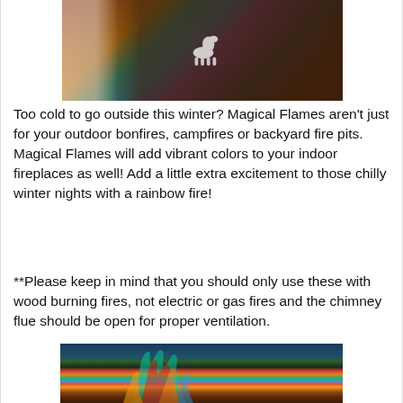[Figure (photo): Indoor fireplace with colorful flames, white horse figurine on coffee table, dark furniture in background]
Too cold to go outside this winter? Magical Flames aren't just for your outdoor bonfires, campfires or backyard fire pits. Magical Flames will add vibrant colors to your indoor fireplaces as well! Add a little extra excitement to those chilly winter nights with a rainbow fire!
**Please keep in mind that you should only use these with wood burning fires, not electric or gas fires and the chimney flue should be open for proper ventilation.
[Figure (photo): Outdoor bonfire at night with multicolored magical flames (red, orange, green, blue, teal), people standing in background against dark tree line and blue sky]